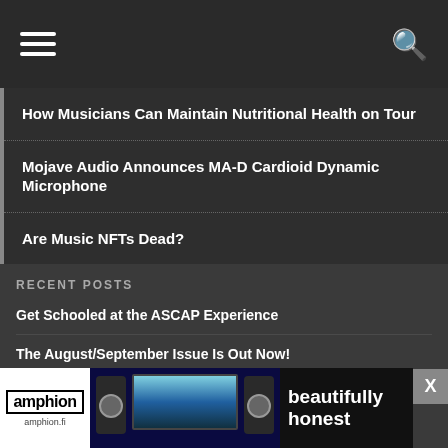navigation bar with hamburger menu and search icon
How Musicians Can Maintain Nutritional Health on Tour
Mojave Audio Announces MA-D Cardioid Dynamic Microphone
Are Music NFTs Dead?
RECENT POSTS
Get Schooled at the ASCAP Experience
The August/September Issue Is Out Now!
Audio-Technica Launches AT2020USB-X Cardioid Condenser Microphone
CONNECT ON FACEBOOK
[Figure (screenshot): Facebook page preview image strip with icon and photos]
[Figure (screenshot): Amphion audio advertisement banner with speakers, screen, and text 'beautifully honest']